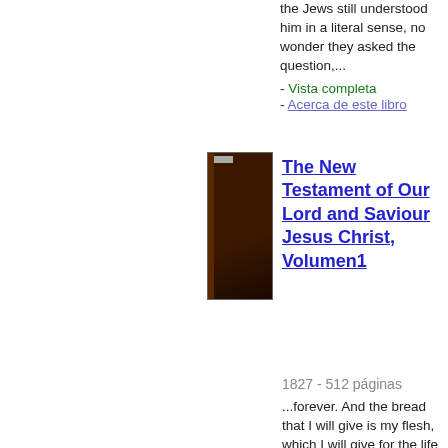the Jews still understood him in a literal sense, no wonder they asked the question,...
Vista completa
- Acerca de este libro
[Figure (photo): Cover of a dark brown book, The New Testament of Our Lord and Saviour Jesus Christ, Volumen 1]
The New Testament of Our Lord and Saviour Jesus Christ, Volumen1
1827 - 512 páginas
...forever. And the bread that I will give is my flesh, which I will give for the life of the world. The Jews...